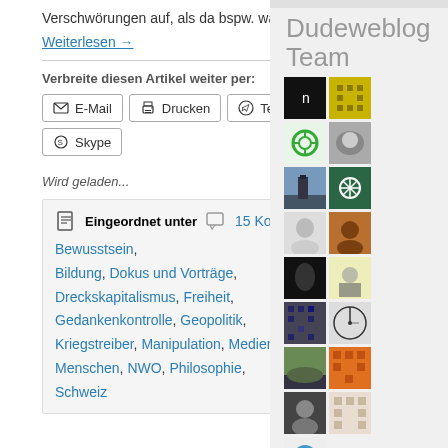Verschwörungen auf, als da bspw. wären:
Weiterlesen →
Verbreite diesen Artikel weiter per:
E-Mail
Drucken
Telegram
Skype
Wird geladen...
Dudeweblog Team
[Figure (photo): Grid of avatar photos for the Dudeweblog Team sidebar]
Eingeordnet unter  15 Kommentare Bewusstsein, Bildung, Dokus und Vorträge, Dreckskapitalismus, Freiheit, Gedankenkontrolle, Geopolitik, Kriegstreiber, Manipulation, Medien, Menschen, NWO, Philosophie, Schweiz
Gesellschaft